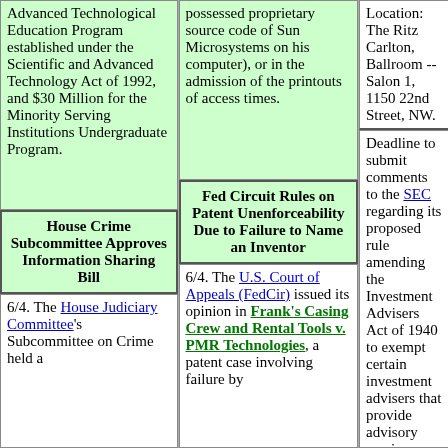Advanced Technological Education Program established under the Scientific and Advanced Technology Act of 1992, and $30 Million for the Minority Serving Institutions Undergraduate Program.
possessed proprietary source code of Sun Microsystems on his computer), or in the admission of the printouts of access times.
Location: The Ritz Carlton, Ballroom -- Salon 1, 1150 22nd Street, NW.
House Crime Subcommittee Approves Information Sharing Bill
Fed Circuit Rules on Patent Unenforceability Due to Failure to Name an Inventor
Deadline to submit comments to the SEC regarding its proposed rule amending the Investment Advisers Act of 1940 to exempt certain investment advisers that provide advisory services through the Internet from the prohibition on SEC registration set out in § 203A of the Act. The amendments would permit these advisers to register with the SEC instead of with state securities authorities
6/4. The House Judiciary Committee's Subcommittee on Crime held a
6/4. The U.S. Court of Appeals (FedCir) issued its opinion in Frank's Casing Crew and Rental Tools v. PMR Technologies, a patent case involving failure by